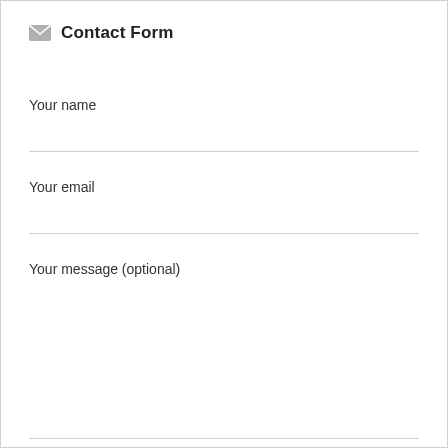Contact Form
Your name
Your email
Your message (optional)